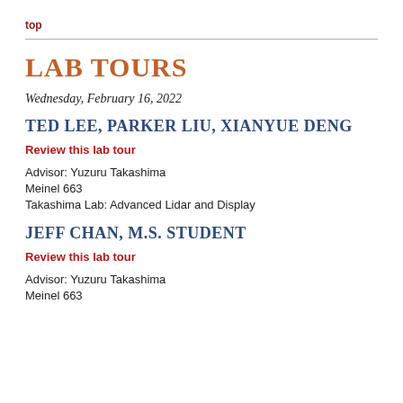top
LAB TOURS
Wednesday, February 16, 2022
TED LEE, PARKER LIU, XIANYUE DENG
Review this lab tour
Advisor: Yuzuru Takashima
Meinel 663
Takashima Lab: Advanced Lidar and Display
JEFF CHAN, M.S. STUDENT
Review this lab tour
Advisor: Yuzuru Takashima
Meinel 663